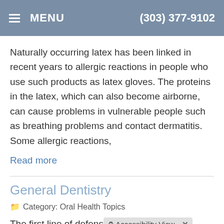MENU  (303) 377-9102
Naturally occurring latex has been linked in recent years to allergic reactions in people who use such products as latex gloves. The proteins in the latex, which can also become airborne, can cause problems in vulnerable people such as breathing problems and contact dermatitis. Some allergic reactions,
Read more
General Dentistry
Category: Oral Health Topics
The first line of defense [Accessibility View] problems